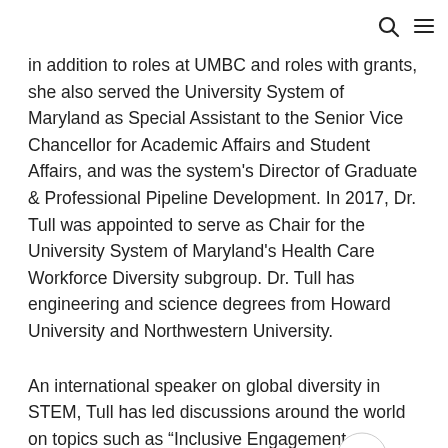search and menu icons
in addition to roles at UMBC and roles with grants, she also served the University System of Maryland as Special Assistant to the Senior Vice Chancellor for Academic Affairs and Student Affairs, and was the system's Director of Graduate & Professional Pipeline Development. In 2017, Dr. Tull was appointed to serve as Chair for the University System of Maryland's Health Care Workforce Diversity subgroup. Dr. Tull has engineering and science degrees from Howard University and Northwestern University.
An international speaker on global diversity in STEM, Tull has led discussions around the world on topics such as “Inclusive Engagement – Engineering for All,” “Cultivating Inclusive Excellence within Science,